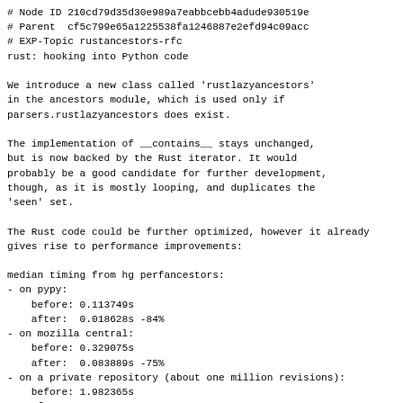# Node ID 210cd79d35d30e989a7eabbcebb4adude930519e
# Parent  cf5c799e65a1225538fa1246887e2efd94c09acc
# EXP-Topic rustancestors-rfc
rust: hooking into Python code
We introduce a new class called 'rustlazyancestors'
in the ancestors module, which is used only if
parsers.rustlazyancestors does exist.
The implementation of __contains__ stays unchanged,
but is now backed by the Rust iterator. It would
probably be a good candidate for further development,
though, as it is mostly looping, and duplicates the
'seen' set.
The Rust code could be further optimized, however it already
gives rise to performance improvements:
median timing from hg perfancestors:
- on pypy:
    before: 0.113749s
    after:  0.018628s -84%
- on mozilla central:
    before: 0.329075s
    after:  0.083889s -75%
- on a private repository (about one million revisions):
    before: 1.982365s
    after:  0.329907s -83%
- on another private repository (about 400 000 revisions):
    before: 0.826686s
    after:  0.123760s -85%
median timing for hg perfbranchmap base...